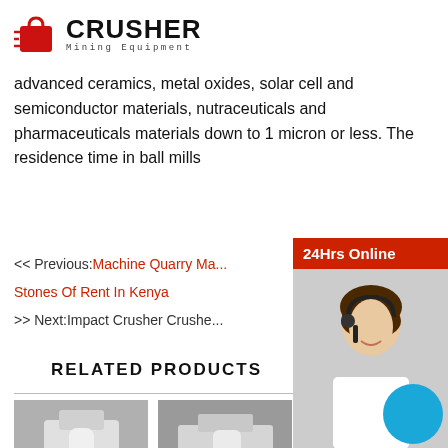[Figure (logo): Crusher Mining Equipment logo with red shopping bag icon and bold CRUSHER text]
advanced ceramics, metal oxides, solar cell and semiconductor materials, nutraceuticals and pharmaceuticals materials down to 1 micron or less. The residence time in ball mills
<< Previous:Machine Quarry Ma... Stones Of Rent In Kenya
>> Next:Impact Crusher Crushe...
RELATED PRODUCTS
[Figure (photo): Industrial crusher machine - white/grey large crushing equipment in factory setting]
[Figure (photo): Industrial crusher machine - second product in factory setting]
[Figure (illustration): 24Hrs Online sidebar with customer service representative photo, Chat Now button, Enquiry section, and email limingjlmofen@sina.com]